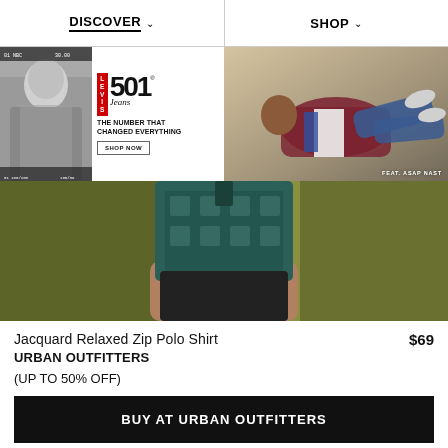DISCOVER ∨   SHOP ∨
[Figure (photo): Levi's 501 Jeans advertisement with black-and-white portrait photo and text: THE NUMBER THAT CHANGED EVERYTHING, SHOP NOW button]
[Figure (photo): Fashion photo of person in red/white/blue jacket lying down, FEAT. ASAP NAST watermark]
[Figure (photo): Close-up photo of person wearing teal Jacquard Relaxed Zip Polo Shirt against olive/khaki background]
Jacquard Relaxed Zip Polo Shirt
$69
URBAN OUTFITTERS
(UP TO 50% OFF)
BUY AT URBAN OUTFITTERS